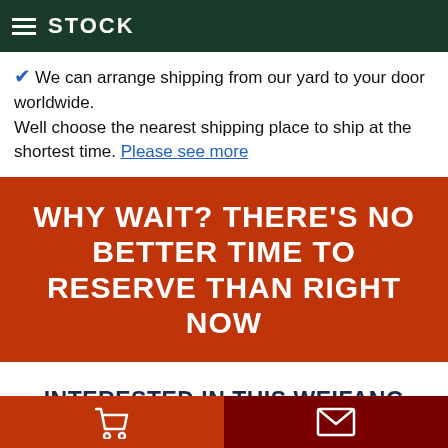STOCK
We can arrange shipping from our yard to your door worldwide.
Well choose the nearest shipping place to ship at the shortest time. Please see more
WHY WAIT? THERE'S NO BETTER TIME TO RESERVE THAN RIGHT NOW
INTERESTED IN THIS WEIFANG RICARDO DIESEL GENSET HTR 200GF
cart | envelope